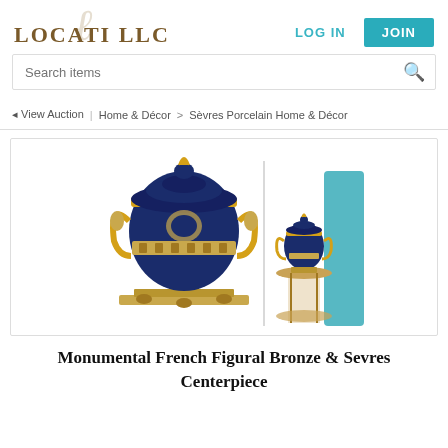LOCATI LLC
LOG IN
JOIN
Search items
◄ View Auction | Home & Décor > Sèvres Porcelain Home & Décor
[Figure (photo): Photo of a monumental French figural bronze and Sevres porcelain centerpiece urn with cobalt blue and gold finish, shown in two views — close-up and with a person for scale.]
Monumental French Figural Bronze & Sevres Centerpiece